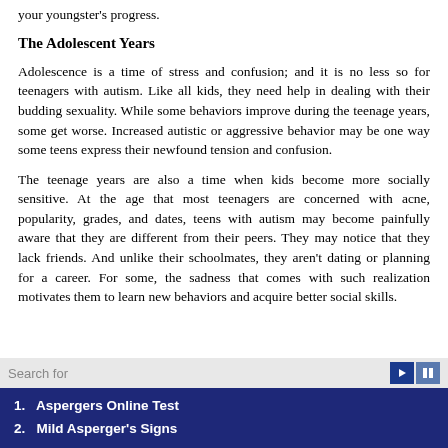your youngster's progress.
The Adolescent Years
Adolescence is a time of stress and confusion; and it is no less so for teenagers with autism. Like all kids, they need help in dealing with their budding sexuality. While some behaviors improve during the teenage years, some get worse. Increased autistic or aggressive behavior may be one way some teens express their newfound tension and confusion.
The teenage years are also a time when kids become more socially sensitive. At the age that most teenagers are concerned with acne, popularity, grades, and dates, teens with autism may become painfully aware that they are different from their peers. They may notice that they lack friends. And unlike their schoolmates, they aren't dating or planning for a career. For some, the sadness that comes with such realization motivates them to learn new behaviors and acquire better social skills.
Search for
1.   Aspergers Online Test
2.   Mild Asperger's Signs